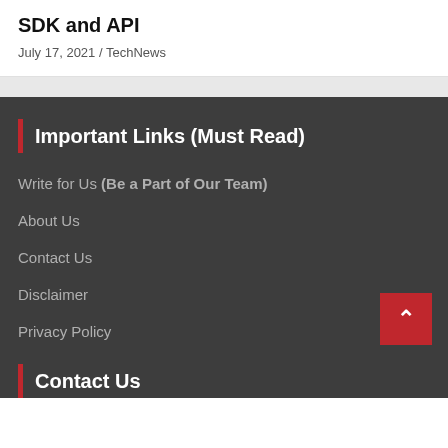SDK and API
July 17, 2021 / TechNews
Important Links (Must Read)
Write for Us (Be a Part of Our Team)
About Us
Contact Us
Disclaimer
Privacy Policy
Contact Us